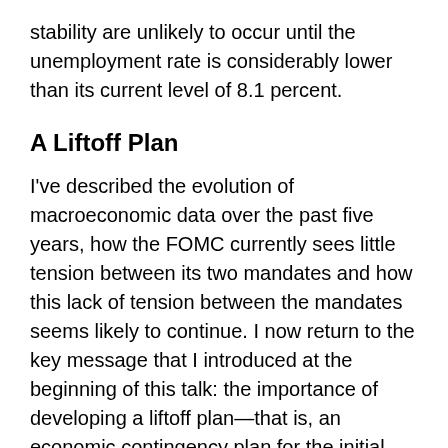stability are unlikely to occur until the unemployment rate is considerably lower than its current level of 8.1 percent.
A Liftoff Plan
I've described the evolution of macroeconomic data over the past five years, how the FOMC currently sees little tension between its two mandates and how this lack of tension between the mandates seems likely to continue. I now return to the key message that I introduced at the beginning of this talk: the importance of developing a liftoff plan—that is, an economic contingency plan for the initial increase in the fed funds rate above its current extraordinarily low level.
I'll start with some background. Right now, the FOMC has two types of accommodation in place. First, it is targeting the federal funds rate at between 0 and 0.25 percent